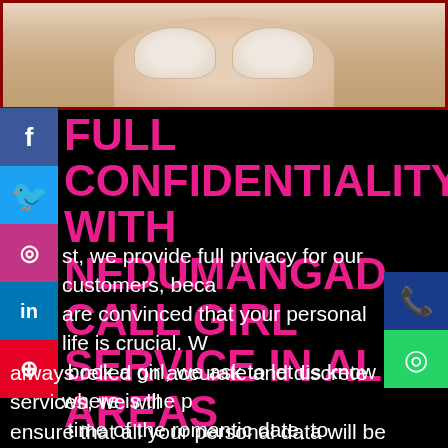[Figure (photo): Partial photo of a woman in a bra, cropped to show bust area against light background]
FULL CONFIDENTIALITY WITH NEDUMANGAD CALL GIRL SERVICE IN ALL AREAS
st, we provide full privacy for our customers, beca are convinced that your personal life is crucial. W book a girl, we ask to let us know where is the p time of the romantic date, to know where and wh end these Nedumangad call girls. As we have always relied on accurate and discrete services, we will ensure that all your personal data will be handled with maximum care. Nobody will know that you were the client of meetvipgirls ladies because we delete your